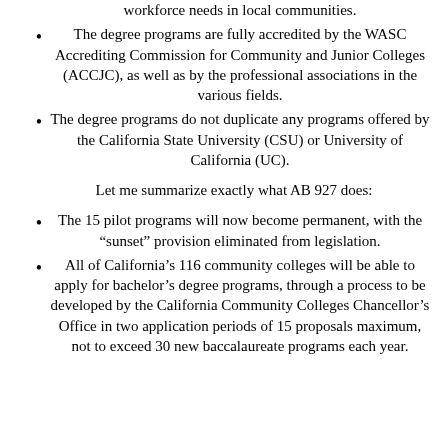workforce needs in local communities.
The degree programs are fully accredited by the WASC Accrediting Commission for Community and Junior Colleges (ACCJC), as well as by the professional associations in the various fields.
The degree programs do not duplicate any programs offered by the California State University (CSU) or University of California (UC).
Let me summarize exactly what AB 927 does:
The 15 pilot programs will now become permanent, with the “sunset” provision eliminated from legislation.
All of California’s 116 community colleges will be able to apply for bachelor’s degree programs, through a process to be developed by the California Community Colleges Chancellor’s Office in two application periods of 15 proposals maximum, not to exceed 30 new baccalaureate programs each year.